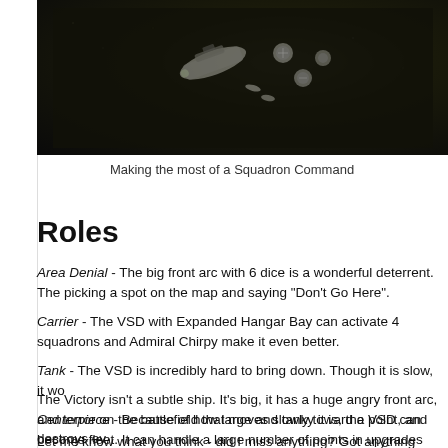[Figure (photo): Top-down photo of Star Wars Armada miniature ships/squadrons on a dark gaming mat surface]
Making the most of a Squadron Command
Roles
Area Denial - The big front arc with 6 dice is a wonderful deterrent.  The [text cut off] picking a spot on the map and saying "Don't Go Here".
Carrier - The VSD with Expanded Hangar Bay can activate 4 squadrons [text cut off] and Admiral Chirpy make it even better.
Tank - The VSD is incredibly hard to bring down.  Though it is slow, it wo[text cut off]
Centerpiece - Because of how large and tanky it is, the VSD can become [text cut off] fleet.  It can handle a large number of points in upgrades and survive thr[text cut off] round.
The Victory isn't a subtle ship.  It's big, it has a huge angry front arc, and [text cut off] terror on the battlefield that moves slowly toward a point, and destroys ev[text cut off]
Let me know what you think - did I miss anything?  Got anything wrong[text cut off]